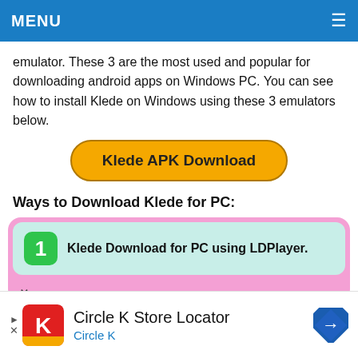MENU ≡
emulator. These 3 are the most used and popular for downloading android apps on Windows PC. You can see how to install Klede on Windows using these 3 emulators below.
[Figure (other): Yellow rounded button labeled 'Klede APK Download']
Ways to Download Klede for PC:
[Figure (other): Card with green icon and text: Klede Download for PC using LDPlayer.]
[Figure (other): Advertisement banner: Circle K Store Locator app ad with Circle K logo and navigation arrow icon]